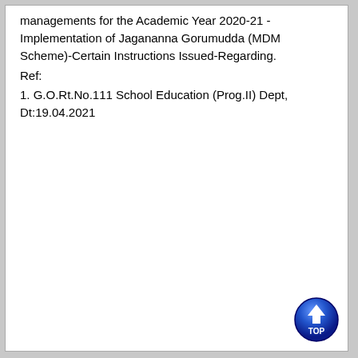managements for the Academic Year 2020-21 -Implementation of Jagananna Gorumudda (MDM Scheme)-Certain Instructions Issued-Regarding.
Ref:
1. G.O.Rt.No.111 School Education (Prog.II) Dept,  Dt:19.04.2021
[Figure (other): Blue circular 'TOP' navigation button with upward arrow]